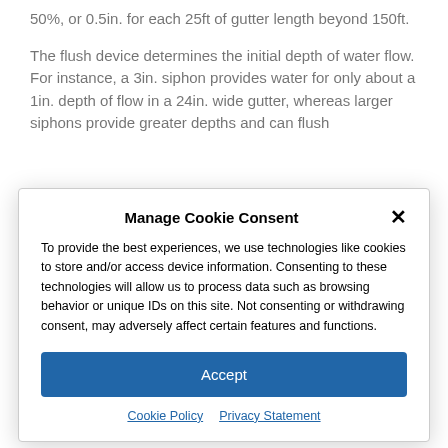rule of thumb is to increase the initial depth of flow by 50%, or 0.5in. for each 25ft of gutter length beyond 150ft.
The flush device determines the initial depth of water flow. For instance, a 3in. siphon provides water for only about a 1in. depth of flow in a 24in. wide gutter, whereas larger siphons provide greater depths and can flush
Manage Cookie Consent
To provide the best experiences, we use technologies like cookies to store and/or access device information. Consenting to these technologies will allow us to process data such as browsing behavior or unique IDs on this site. Not consenting or withdrawing consent, may adversely affect certain features and functions.
Accept
Cookie Policy  Privacy Statement